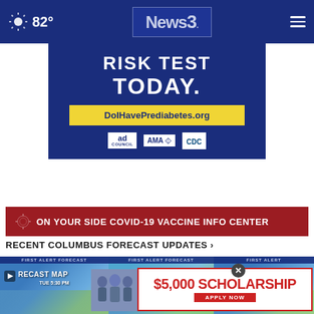82° News 3
[Figure (advertisement): Prediabetes risk test advertisement banner with text 'RISK TEST TODAY.' and 'DoIHavePrediabetes.org' on dark blue background, with ad council, AMA, and CDC logos]
ON YOUR SIDE COVID-19 VACCINE INFO CENTER
RECENT COLUMBUS FORECAST UPDATES ›
[Figure (screenshot): Three weather forecast video thumbnails: FORECAST MAP TUE 5:30 PM, RADAR FORECAST MONDAY 5:00 PM, RADAR FO MONDAY]
[Figure (advertisement): $5,000 SCHOLARSHIP - APPLY NOW popup advertisement with close button]